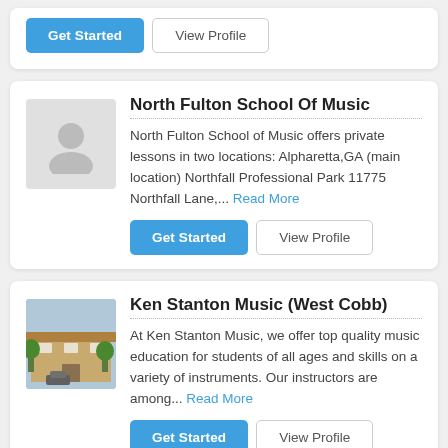[Figure (other): Partially visible blue button at top right of page]
Get Started | View Profile (top card buttons)
North Fulton School Of Music
North Fulton School of Music offers private lessons in two locations: Alpharetta,GA (main location) Northfall Professional Park 11775 Northfall Lane,... Read More
Get Started | View Profile (North Fulton buttons)
Ken Stanton Music (West Cobb)
At Ken Stanton Music, we offer top quality music education for students of all ages and skills on a variety of instruments. Our instructors are among... Read More
Get Started | View Profile (Ken Stanton buttons)